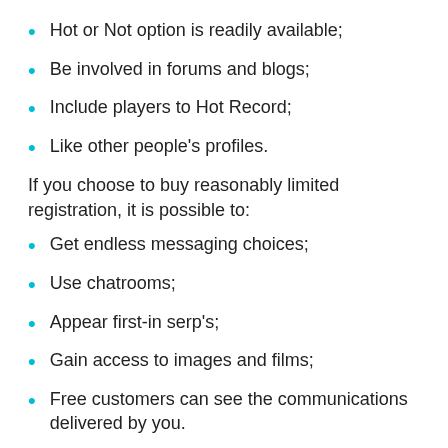Hot or Not option is readily available;
Be involved in forums and blogs;
Include players to Hot Record;
Like other people's profiles.
If you choose to buy reasonably limited registration, it is possible to:
Get endless messaging choices;
Use chatrooms;
Appear first-in serp's;
Gain access to images and films;
Free customers can see the communications delivered by you.